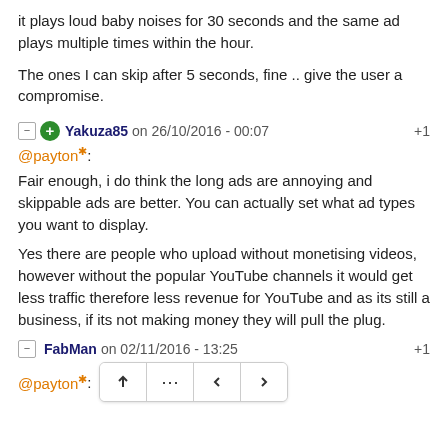it plays loud baby noises for 30 seconds and the same ad plays multiple times within the hour.
The ones I can skip after 5 seconds, fine .. give the user a compromise.
Yakuza85 on 26/10/2016 - 00:07  +1
@payton*:
Fair enough, i do think the long ads are annoying and skippable ads are better. You can actually set what ad types you want to display.
Yes there are people who upload without monetising videos, however without the popular YouTube channels it would get less traffic therefore less revenue for YouTube and as its still a business, if its not making money they will pull the plug.
FabMan on 02/11/2016 - 13:25  +1
@payton*: